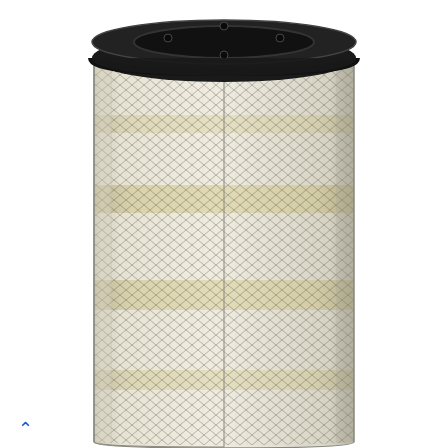[Figure (photo): A cylindrical industrial air filter element with a black plastic end cap on top. The filter body shows a diamond-pattern mesh (expanded metal) outer wrap covering pleated filter media beneath, with visible yellowish/tan horizontal banding stripes around the cylinder. The filter is photographed against a white background.]